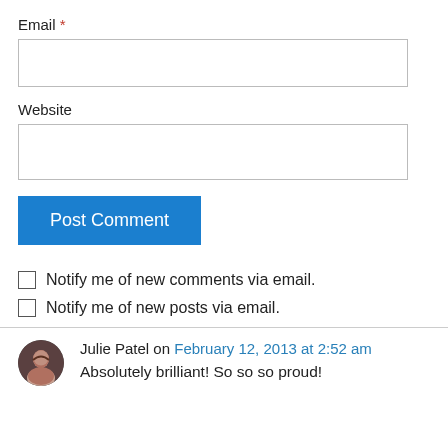Email *
Website
Post Comment
Notify me of new comments via email.
Notify me of new posts via email.
Julie Patel on February 12, 2013 at 2:52 am
Absolutely brilliant! So so so proud!